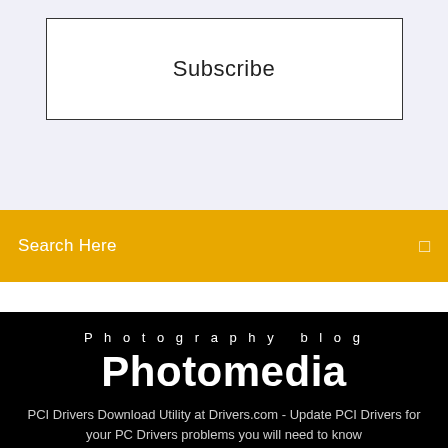Subscribe
Search Here
Photography blog
Photomedia
PCI Drivers Download Utility at Drivers.com - Update PCI Drivers for your PC Drivers problems you will need to know